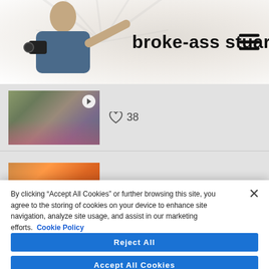broke-ass stuart
[Figure (screenshot): Thumbnail image with play icon and heart/like count of 38]
[Figure (screenshot): Thumbnail image for Brown Bag Wine Tasting article]
BROWN BAG WINE TASTING
By clicking “Accept All Cookies” or further browsing this site, you agree to the storing of cookies on your device to enhance site navigation, analyze site usage, and assist in our marketing efforts. Cookie Policy
Cookies Settings
Reject All
Accept All Cookies